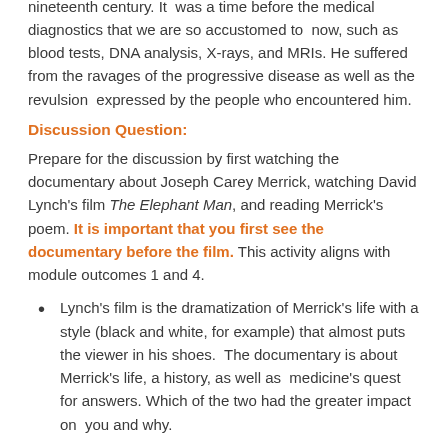Joseph Corey Merrick, known as the Elephant Man, lived with an extremely rare disease during the mid- to late-nineteenth century. It was a time before the medical diagnostics that we are so accustomed to now, such as blood tests, DNA analysis, X-rays, and MRIs. He suffered from the ravages of the progressive disease as well as the revulsion expressed by the people who encountered him.
Discussion Question:
Prepare for the discussion by first watching the documentary about Joseph Carey Merrick, watching David Lynch's film The Elephant Man, and reading Merrick's poem. It is important that you first see the documentary before the film. This activity aligns with module outcomes 1 and 4.
Lynch's film is the dramatization of Merrick's life with a style (black and white, for example) that almost puts the viewer in his shoes. The documentary is about Merrick's life, a history, as well as medicine's quest for answers. Which of the two had the greater impact on you and why.
The film and the documentary examine the different